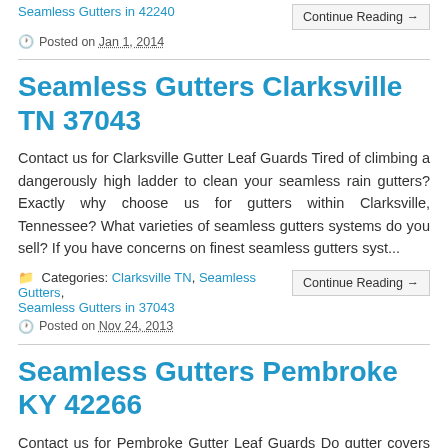Seamless Gutters in 42240
Continue Reading →
Posted on Jan 1, 2014
Seamless Gutters Clarksville TN 37043
Contact us for Clarksville Gutter Leaf Guards Tired of climbing a dangerously high ladder to clean your seamless rain gutters? Exactly why choose us for gutters within Clarksville, Tennessee? What varieties of seamless gutters systems do you sell? If you have concerns on finest seamless gutters syst...
Categories: Clarksville TN, Seamless Gutters, Seamless Gutters in 37043
Continue Reading →
Posted on Nov 24, 2013
Seamless Gutters Pembroke KY 42266
Contact us for Pembroke Gutter Leaf Guards Do gutter covers ever block up? Why should not we just buy building materials and